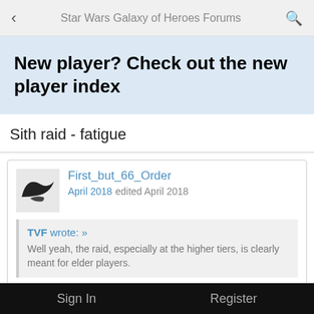Star Wars Galaxy of Heroes Forums
New player? Check out the new player index
Sith raid - fatigue
First_but_66_Order
April 2018 edited April 2018
TVF wrote: »
Well yeah, the raid, especially at the higher tiers, is clearly meant for elder players.
In my guild, we do t5 and it is basicly a 3 player solo by the top 3 guildmates who are all p2p, one of them is probably a
Sign In    Register